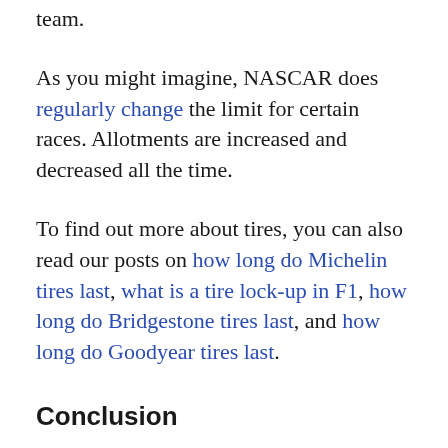team.
As you might imagine, NASCAR does regularly change the limit for certain races. Allotments are increased and decreased all the time.
To find out more about tires, you can also read our posts on how long do Michelin tires last, what is a tire lock-up in F1, how long do Bridgestone tires last, and how long do Goodyear tires last.
Conclusion
NASCAR tires are not built for longevity;